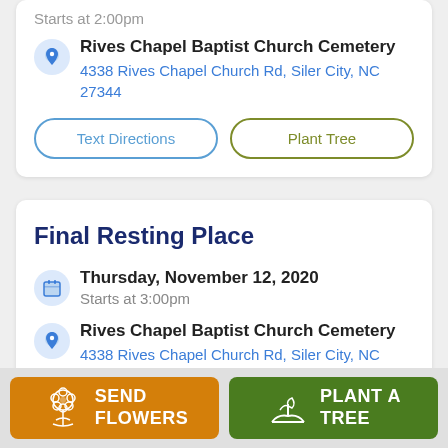Starts at 2:00pm
Rives Chapel Baptist Church Cemetery
4338 Rives Chapel Church Rd, Siler City, NC 27344
Text Directions
Plant Tree
Final Resting Place
Thursday, November 12, 2020
Starts at 3:00pm
Rives Chapel Baptist Church Cemetery
4338 Rives Chapel Church Rd, Siler City, NC 27344
Text Directions
Plant Tree
SEND FLOWERS
PLANT A TREE